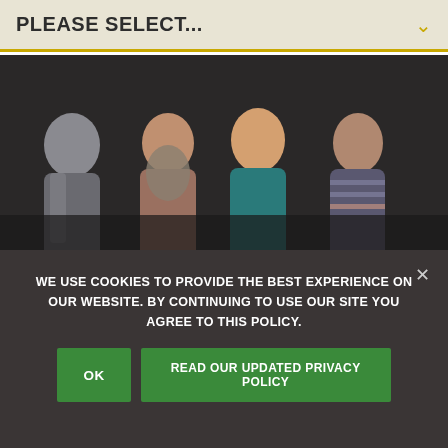PLEASE SELECT...
[Figure (photo): Group of four women posing together and smiling in what appears to be a restaurant or bar setting with red booth seating visible in background]
Click here to make a reservation at Quality Crab & Oyster Bah.
WE USE COOKIES TO PROVIDE THE BEST EXPERIENCE ON OUR WEBSITE. BY CONTINUING TO USE OUR SITE YOU AGREE TO THIS POLICY.
OK
READ OUR UPDATED PRIVACY POLICY